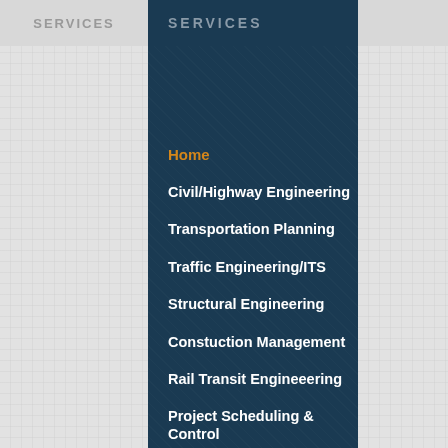SERVICES
Home
Civil/Highway Engineering
Transportation Planning
Traffic Engineering/ITS
Structural Engineering
Constuction Management
Rail Transit Engineeering
Project Scheduling & Control
Project & Program